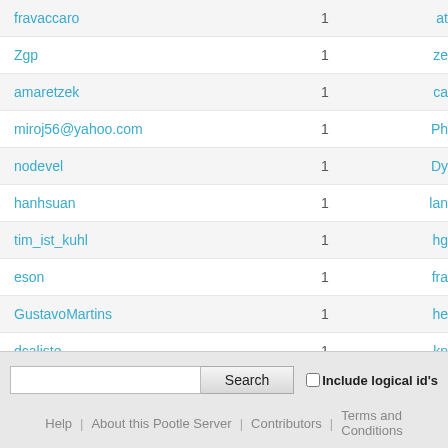| Username | Count | Link |
| --- | --- | --- |
| fravaccaro | 1 | at... |
| Zgp | 1 | ze... |
| amaretzek | 1 | ca... |
| miroj56@yahoo.com | 1 | Ph... |
| nodevel | 1 | Dy... |
| hanhsuan | 1 | lan... |
| tim_ist_kuhl | 1 | hg... |
| eson | 1 | fra... |
| GustavoMartins | 1 | he... |
| dcaliste | 1 | kn... |
Search | Include logical id's
Help | About this Pootle Server | Contributors | Terms and Conditions